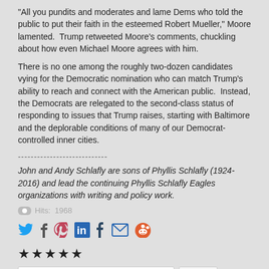“All you pundits and moderates and lame Dems who told the public to put their faith in the esteemed Robert Mueller,” Moore lamented. Trump retweeted Moore’s comments, chuckling about how even Michael Moore agrees with him.
There is no one among the roughly two-dozen candidates vying for the Democratic nomination who can match Trump’s ability to reach and connect with the American public. Instead, the Democrats are relegated to the second-class status of responding to issues that Trump raises, starting with Baltimore and the deplorable conditions of many of our Democrat-controlled inner cities.
----------------------------
John and Andy Schlafly are sons of Phyllis Schlafly (1924-2016) and lead the continuing Phyllis Schlafly Eagles organizations with writing and policy work.
Hits: 1968
[Figure (infographic): Social media share icons: Twitter, Facebook, Pinterest, LinkedIn, Tumblr, Email, Reddit]
★★★★★
Vote 5 | Rate